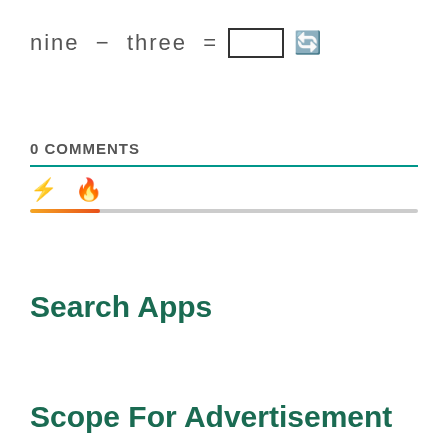nine − three = □ ↻
0 COMMENTS
[Figure (infographic): Lightning bolt icon and fire icon with a partial progress bar below, showing activity tabs]
Search Apps
Scope For Advertisement